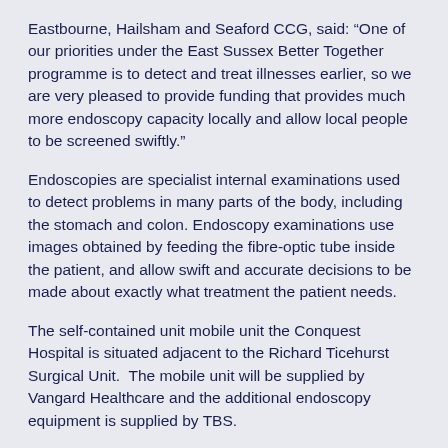Eastbourne, Hailsham and Seaford CCG, said: “One of our priorities under the East Sussex Better Together programme is to detect and treat illnesses earlier, so we are very pleased to provide funding that provides much more endoscopy capacity locally and allow local people to be screened swiftly.”
Endoscopies are specialist internal examinations used to detect problems in many parts of the body, including the stomach and colon. Endoscopy examinations use images obtained by feeding the fibre-optic tube inside the patient, and allow swift and accurate decisions to be made about exactly what treatment the patient needs.
The self-contained unit mobile unit the Conquest Hospital is situated adjacent to the Richard Ticehurst Surgical Unit.  The mobile unit will be supplied by Vangard Healthcare and the additional endoscopy equipment is supplied by TBS.